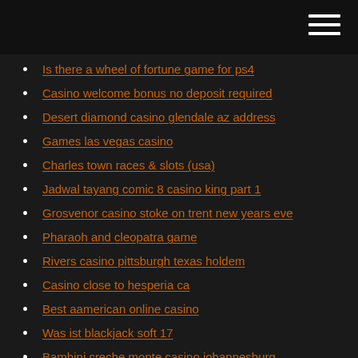Is there a wheel of fortune game for ps4
Casino welcome bonus no deposit required
Desert diamond casino glendale az address
Games las vegas casino
Charles town races & slots (usa)
Jadwal tayang comic 8 casino king part 1
Grosvenor casino stoke on trent new years eve
Pharaoh and cleopatra game
Rivers casino pittsburgh texas holdem
Casino close to hesperia ca
Best aamerican online casino
Was ist blackjack soft 17
Bambini creche monte casino johannesburg
Torin black jack 2 ton jack stands